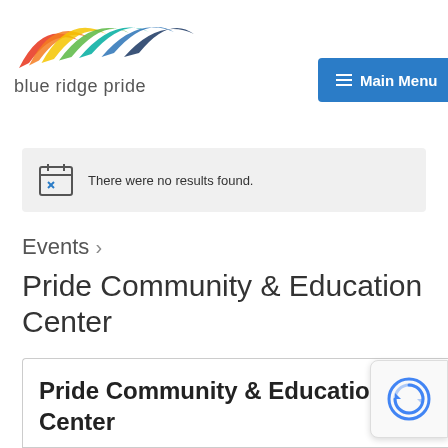[Figure (logo): Blue Ridge Pride logo with rainbow mountain silhouette and text 'blue ridge pride']
[Figure (screenshot): Main Menu navigation button in blue]
There were no results found.
Events ›
Pride Community & Education Center
Pride Community & Education Center